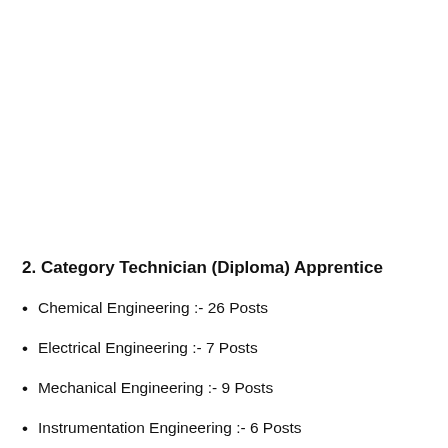2. Category Technician (Diploma) Apprentice
Chemical Engineering :- 26 Posts
Electrical Engineering :- 7 Posts
Mechanical Engineering :- 9 Posts
Instrumentation Engineering :- 6 Posts